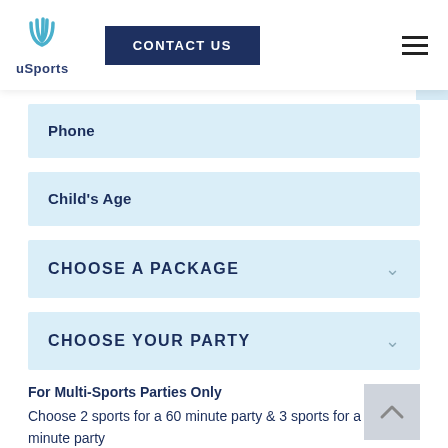[Figure (logo): uSports logo with stylized U icon above the text uSports]
CONTACT US
Phone
Child's Age
CHOOSE A PACKAGE
CHOOSE YOUR PARTY
For Multi-Sports Parties Only
Choose 2 sports for a 60 minute party & 3 sports for a 90 minute party
Select Your Sports
Football